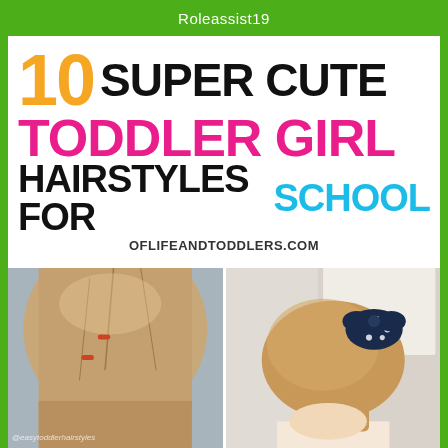Roleassist19
10 SUPER CUTE TODDLER GIRL HAIRSTYLES FOR SCHOOL
OFLIFEANDTODDLERS.COM
[Figure (photo): Close-up of a young girl's hair with small claw clips parting sections of straight light brown hair, viewed from above]
[Figure (photo): Side view of a young girl's hair styled in a bun with a navy blue polka dot scrunchie/bow accessory]